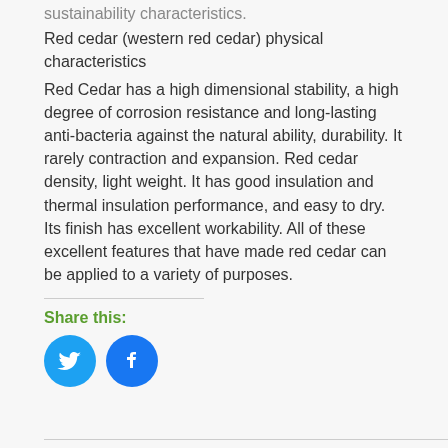sustainability characteristics.
Red cedar (western red cedar) physical characteristics
Red Cedar has a high dimensional stability, a high degree of corrosion resistance and long-lasting anti-bacteria against the natural ability, durability. It rarely contraction and expansion. Red cedar density, light weight. It has good insulation and thermal insulation performance, and easy to dry. Its finish has excellent workability. All of these excellent features that have made red cedar can be applied to a variety of purposes.
Share this:
[Figure (other): Twitter and Facebook social sharing icon buttons (circular, blue)]